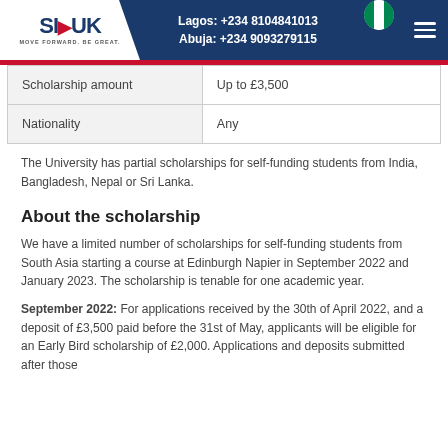Lagos: +234 8104841013  Abuja: +234 9093279115
| Scholarship amount | Up to £3,500 |
| Nationality | Any |
The University has partial scholarships for self-funding students from India, Bangladesh, Nepal or Sri Lanka.
About the scholarship
We have a limited number of scholarships for self-funding students from South Asia starting a course at Edinburgh Napier in September 2022 and January 2023. The scholarship is tenable for one academic year.
September 2022: For applications received by the 30th of April 2022, and a deposit of £3,500 paid before the 31st of May, applicants will be eligible for an Early Bird scholarship of £2,000. Applications and deposits submitted after those